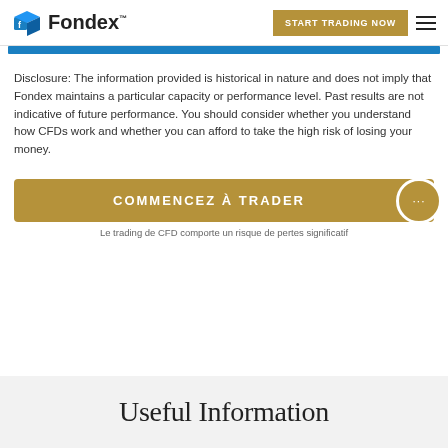Fondex — START TRADING NOW
Disclosure: The information provided is historical in nature and does not imply that Fondex maintains a particular capacity or performance level. Past results are not indicative of future performance. You should consider whether you understand how CFDs work and whether you can afford to take the high risk of losing your money.
COMMENCEZ À TRADER
Le trading de CFD comporte un risque de pertes significatif
Useful Information